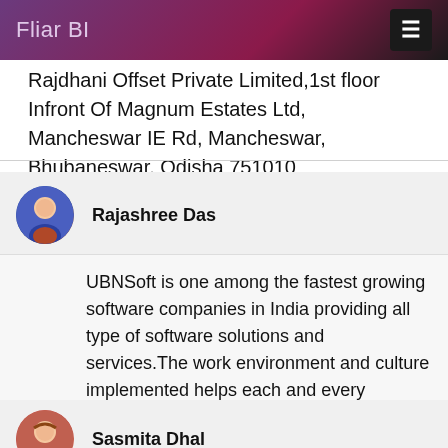Fliar BI
Rajdhani Offset Private Limited,1st floor Infront Of Magnum Estates Ltd, Mancheswar IE Rd, Mancheswar, Bhubaneswar, Odisha 751010
Rajashree Das
UBNSoft is one among the fastest growing software companies in India providing all type of software solutions and services.The work environment and culture implemented helps each and every employee to build their careers in a right track. The process and
Sasmita Dhal